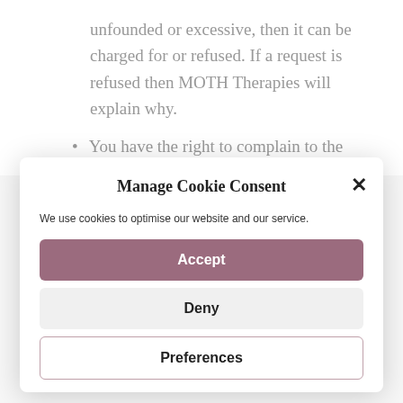unfounded or excessive, then it can be charged for or refused. If a request is refused then MOTH Therapies will explain why.
You have the right to complain to the supervisory authority and to the judicial
Manage Cookie Consent
We use cookies to optimise our website and our service.
Accept
Deny
Preferences